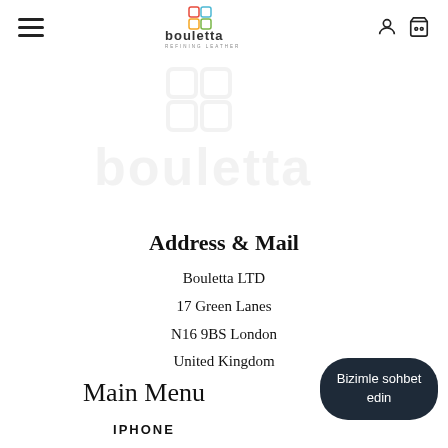[Figure (logo): Bouletta Refining Leather logo in header with hamburger menu icon on left and user/cart icons on right]
[Figure (logo): Large faded watermark of Bouletta logo in center of page]
Address & Mail
Bouletta LTD
17 Green Lanes
N16 9BS London
United Kingdom
Main Menu
IPHONE
[Figure (other): Dark rounded rectangle chat button with text 'Bizimle sohbet edin']